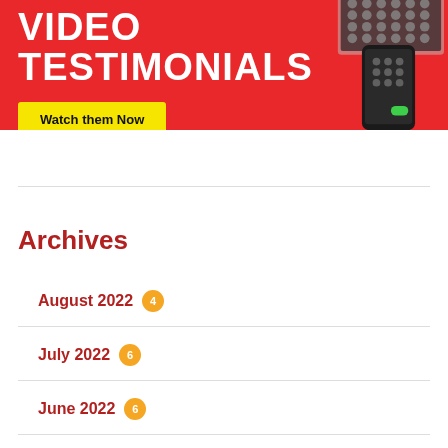[Figure (illustration): Red banner advertisement for Video Testimonials with a yellow 'Watch them Now' button and a phone mockup on the right side]
Archives
August 2022  4
July 2022  6
June 2022  6